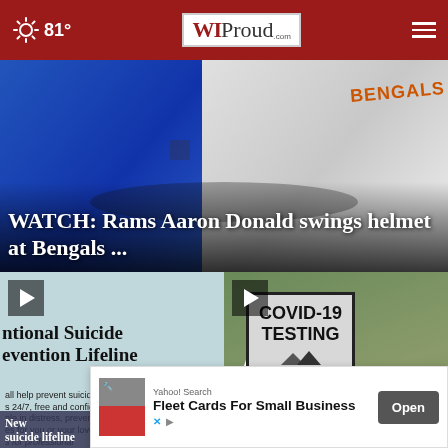81° WIProud.com
[Figure (photo): Football players in blue Rams jersey and white Bengals jersey, hero image for news article]
WATCH: Rams Aaron Donald swings helmet at Bengals ...
[Figure (photo): National Suicide Prevention Lifeline promotional image with text about free and confidential support]
[Figure (photo): COVID-19 TESTING sign with orange traffic cones in background]
New suicide lifeline
issues mask
[Figure (screenshot): Yahoo! Search advertisement: Fleet Cards For Small Business with Open button]